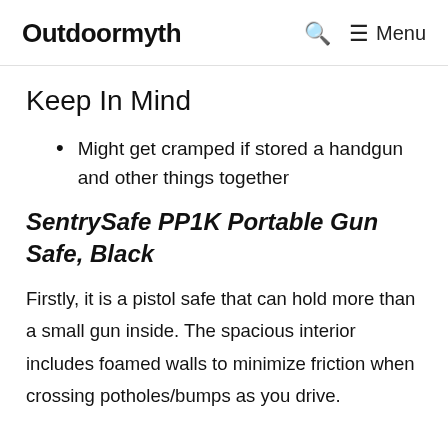Outdoormyth
Keep In Mind
Might get cramped if stored a handgun and other things together
SentrySafe PP1K Portable Gun Safe, Black
Firstly, it is a pistol safe that can hold more than a small gun inside. The spacious interior includes foamed walls to minimize friction when crossing potholes/bumps as you drive.